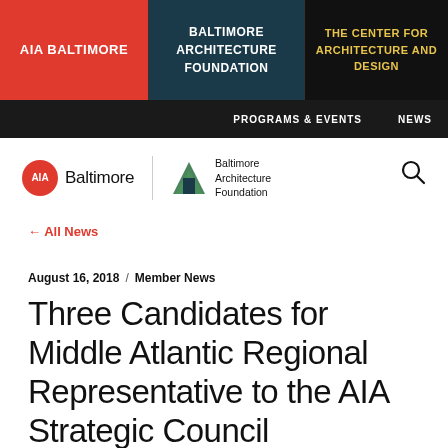AIA BALTIMORE | BALTIMORE ARCHITECTURE FOUNDATION | THE CENTER FOR ARCHITECTURE AND DESIGN
PROGRAMS & EVENTS | NEWS
[Figure (logo): AIA Baltimore logo and Baltimore Architecture Foundation logo]
← All News
August 16, 2018 / Member News
Three Candidates for Middle Atlantic Regional Representative to the AIA Strategic Council